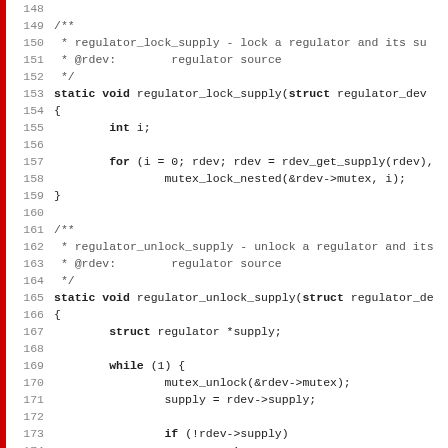[Figure (other): Source code listing showing C functions regulator_lock_supply and regulator_unlock_supply with line numbers 148-179]